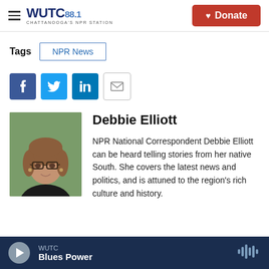[Figure (logo): WUTC 88.1 Chattanooga's NPR Station logo with hamburger menu and red Donate button]
Tags
NPR News
[Figure (infographic): Social share buttons: Facebook, Twitter, LinkedIn, Email]
[Figure (photo): Headshot photo of Debbie Elliott, a woman with glasses and brown hair]
Debbie Elliott
NPR National Correspondent Debbie Elliott can be heard telling stories from her native South. She covers the latest news and politics, and is attuned to the region's rich culture and history.
WUTC Blues Power